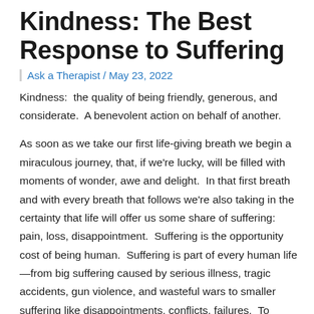Kindness: The Best Response to Suffering
Ask a Therapist / May 23, 2022
Kindness:  the quality of being friendly, generous, and considerate.  A benevolent action on behalf of another.
As soon as we take our first life-giving breath we begin a miraculous journey, that, if we're lucky, will be filled with moments of wonder, awe and delight.  In that first breath and with every breath that follows we're also taking in the certainty that life will offer us some share of suffering:  pain, loss, disappointment.  Suffering is the opportunity cost of being human.  Suffering is part of every human life—from big suffering caused by serious illness, tragic accidents, gun violence, and wasteful wars to smaller suffering like disappointments, conflicts, failures.  To accept life requires us